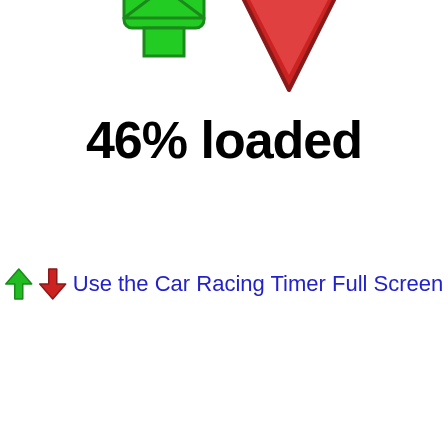[Figure (illustration): Two arrow icons at the top: a green upward arrow (rectangular/button style) on the left and a red downward arrow (triangular/chevron style) on the right, partially cropped at top of page.]
46% loaded
Use the Car Racing Timer Full Screen